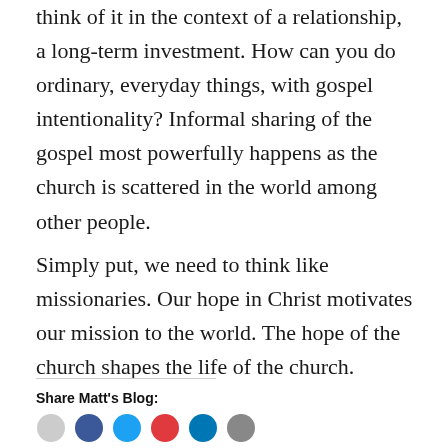think of it in the context of a relationship, a long-term investment. How can you do ordinary, everyday things, with gospel intentionality? Informal sharing of the gospel most powerfully happens as the church is scattered in the world among other people.
Simply put, we need to think like missionaries. Our hope in Christ motivates our mission to the world. The hope of the church shapes the life of the church.
Share Matt's Blog: